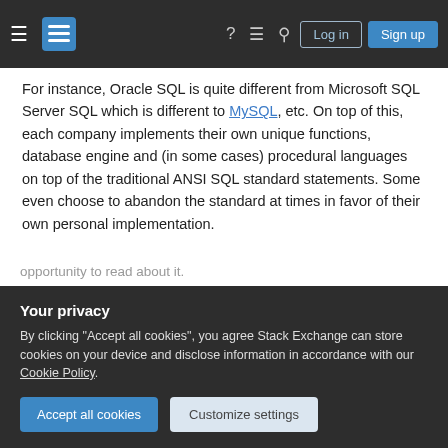Stack Exchange navigation header with hamburger menu, logo, help, chat, search, Log in, Sign up
For instance, Oracle SQL is quite different from Microsoft SQL Server SQL which is different to MySQL, etc. On top of this, each company implements their own unique functions, database engine and (in some cases) procedural languages on top of the traditional ANSI SQL standard statements. Some even choose to abandon the standard at times in favor of their own personal implementation.
The history of this marriage of SQL to the relational
Your privacy
By clicking "Accept all cookies", you agree Stack Exchange can store cookies on your device and disclose information in accordance with our Cookie Policy.
opportunity to read about it.